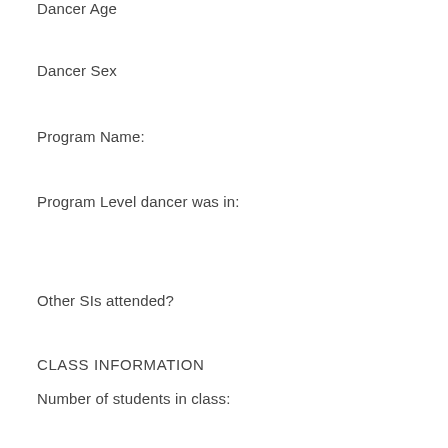Dancer Age
Dancer Sex
Program Name:
Program Level dancer was in:
Other SIs attended?
CLASS INFORMATION
Number of students in class: